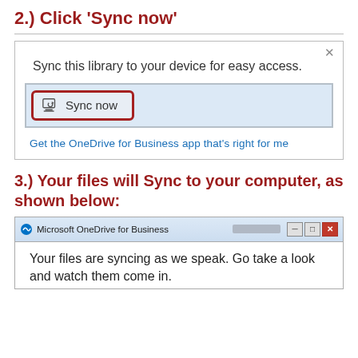2.) Click 'Sync now'
[Figure (screenshot): A SharePoint dialog box showing 'Sync this library to your device for easy access.' with a 'Sync now' button highlighted by a red border, and a link 'Get the OneDrive for Business app that's right for me'.]
3.) Your files will Sync to your computer, as shown below:
[Figure (screenshot): Microsoft OneDrive for Business window showing text 'Your files are syncing as we speak. Go take a look and watch them come in.']